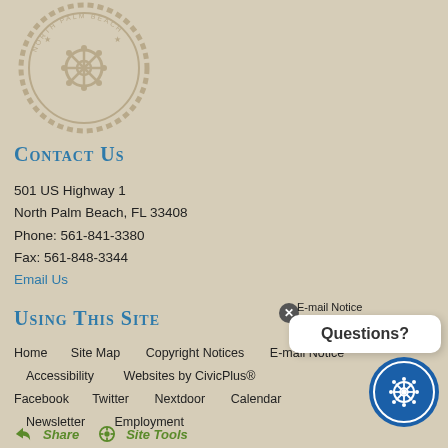[Figure (logo): North Palm Beach official seal/logo — circular emblem with ship wheel, rope border, and text 'NORTH PALM BEACH']
Contact Us
501 US Highway 1
North Palm Beach, FL 33408
Phone: 561-841-3380
Fax: 561-848-3344
Email Us
Using This Site
Home    Site Map    Copyright Notices    E-mail Notice
Accessibility    Websites by CivicPlus®
Facebook    Twitter    Nextdoor    Calendar
Newsletter    Employment
[Figure (other): Questions? popup bubble with close button (×)]
[Figure (logo): North Palm Beach blue circular seal with ship wheel]
Share    Site Tools